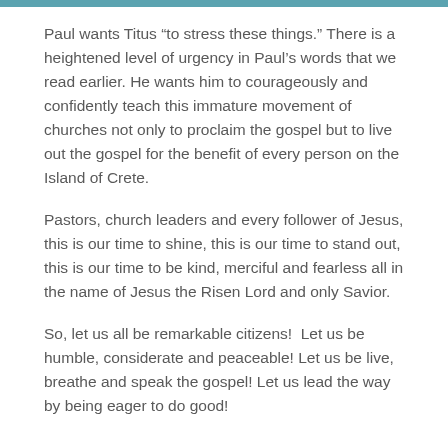Paul wants Titus “to stress these things.” There is a heightened level of urgency in Paul’s words that we read earlier. He wants him to courageously and confidently teach this immature movement of churches not only to proclaim the gospel but to live out the gospel for the benefit of every person on the Island of Crete.
Pastors, church leaders and every follower of Jesus, this is our time to shine, this is our time to stand out, this is our time to be kind, merciful and fearless all in the name of Jesus the Risen Lord and only Savior.
So, let us all be remarkable citizens!  Let us be humble, considerate and peaceable! Let us be live, breathe and speak the gospel! Let us lead the way by being eager to do good!